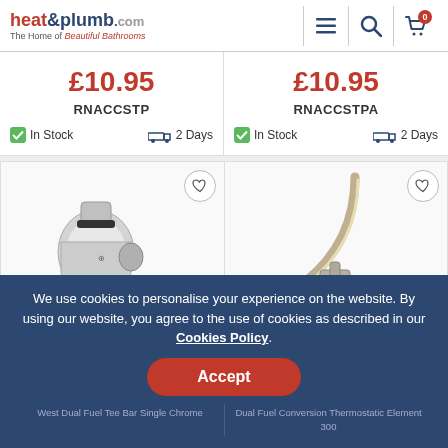heat&plumb.com - The Home of Beautiful Bathrooms
£10.95
RNACCSTP
In Stock  2 Days
£10.95
RNACCSTPA
In Stock  2 Days
[Figure (photo): Chrome radiator valve fitting - threaded male connector with black O-ring and female threaded coupling]
[Figure (photo): Brushed nickel curved towel rail element with tee piece fitting]
West Dual Fuel Tee Bar Single Chrome
Dual Fuel Conversion Thermostatic Element 300
We use cookies to personalise your experience on the website. By using our website, you agree to the use of cookies as described in our Cookies Policy.
Accept